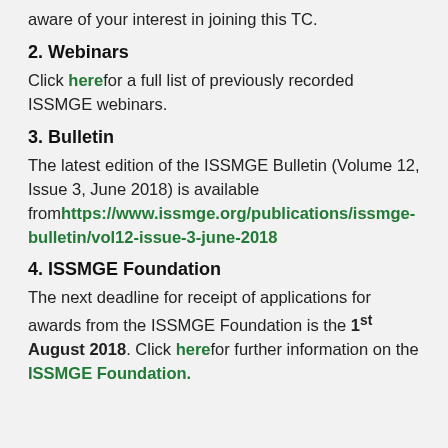aware of your interest in joining this TC.
2. Webinars
Click here for a full list of previously recorded ISSMGE webinars.
3. Bulletin
The latest edition of the ISSMGE Bulletin (Volume 12, Issue 3, June 2018) is available from https://www.issmge.org/publications/issmge-bulletin/vol12-issue-3-june-2018
4. ISSMGE Foundation
The next deadline for receipt of applications for awards from the ISSMGE Foundation is the 1st August 2018. Click here for further information on the ISSMGE Foundation.